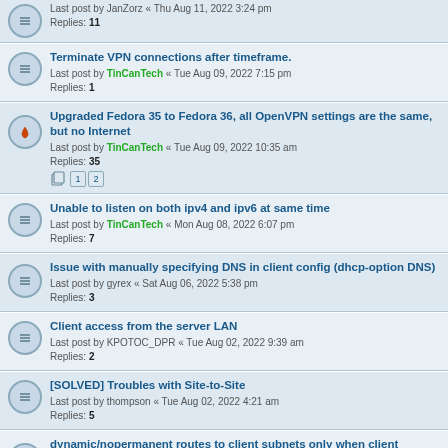Last post by JanZorz « Thu Aug 11, 2022 3:24 pm
Replies: 11
Terminate VPN connections after timeframe.
Last post by TinCanTech « Tue Aug 09, 2022 7:15 pm
Replies: 1
Upgraded Fedora 35 to Fedora 36, all OpenVPN settings are the same, but no Internet
Last post by TinCanTech « Tue Aug 09, 2022 10:35 am
Replies: 35
Unable to listen on both ipv4 and ipv6 at same time
Last post by TinCanTech « Mon Aug 08, 2022 6:07 pm
Replies: 7
Issue with manually specifying DNS in client config (dhcp-option DNS)
Last post by gyrex « Sat Aug 06, 2022 5:38 pm
Replies: 3
Client access from the server LAN
Last post by KPOTOC_DPR « Tue Aug 02, 2022 9:39 am
Replies: 2
[SOLVED] Troubles with Site-to-Site
Last post by thompson « Tue Aug 02, 2022 4:21 am
Replies: 5
dynamic/nopermanent routes to client subnets only when client connected
Last post by TinCanTech « Sun Jul 31, 2022 4:45 am
Replies: 20